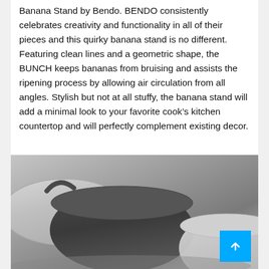Banana Stand by Bendo. BENDO consistently celebrates creativity and functionality in all of their pieces and this quirky banana stand is no different. Featuring clean lines and a geometric shape, the BUNCH keeps bananas from bruising and assists the ripening process by allowing air circulation from all angles. Stylish but not at all stuffy, the banana stand will add a minimal look to your favorite cook's kitchen countertop and will perfectly complement existing decor.
[Figure (photo): Close-up photo of geometric dark grey and light grey ceramic bowls on a grey surface, with a scroll-to-top button overlay in the bottom right corner.]